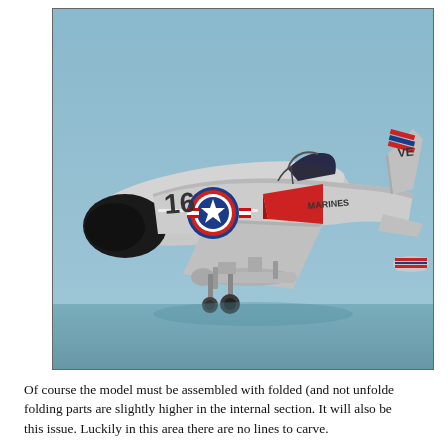[Figure (photo): Photo of a scale model of a U.S. Marine Corps jet aircraft (appears to be an F-8 Crusader or similar), numbered '16', with a black nose cone, USMC star-and-bar insignia, red and white markings, open cockpit canopy, and underwing stores, set against a light blue background.]
Of course the model must be assembled with folded (and not unfolded) folding parts are slightly higher in the internal section. It will also be this issue. Luckily in this area there are no lines to carve.